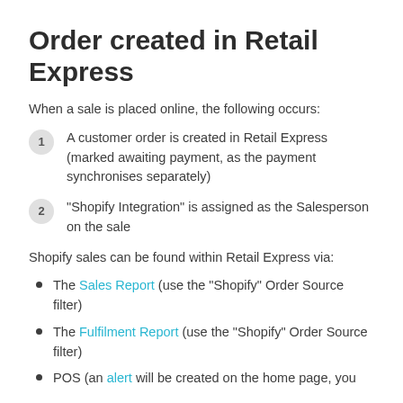Order created in Retail Express
When a sale is placed online, the following occurs:
A customer order is created in Retail Express (marked awaiting payment, as the payment synchronises separately)
"Shopify Integration" is assigned as the Salesperson on the sale
Shopify sales can be found within Retail Express via:
The Sales Report (use the "Shopify" Order Source filter)
The Fulfilment Report (use the "Shopify" Order Source filter)
POS (an alert will be created on the home page, you